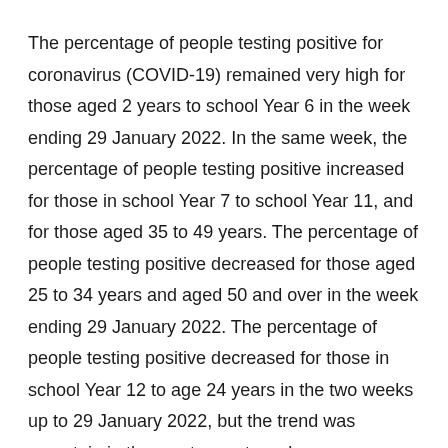The percentage of people testing positive for coronavirus (COVID-19) remained very high for those aged 2 years to school Year 6 in the week ending 29 January 2022. In the same week, the percentage of people testing positive increased for those in school Year 7 to school Year 11, and for those aged 35 to 49 years. The percentage of people testing positive decreased for those aged 25 to 34 years and aged 50 and over in the week ending 29 January 2022. The percentage of people testing positive decreased for those in school Year 12 to age 24 years in the two weeks up to 29 January 2022, but the trend was uncertain in the most recent week.